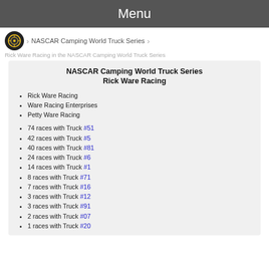Menu
NASCAR Camping World Truck Series
Rick Ware Racing in the NASCAR Camping World Truck Series
NASCAR Camping World Truck Series Rick Ware Racing
Rick Ware Racing
Ware Racing Enterprises
Petty Ware Racing
74 races with Truck #51
42 races with Truck #5
40 races with Truck #81
24 races with Truck #6
14 races with Truck #1
8 races with Truck #71
7 races with Truck #16
3 races with Truck #12
3 races with Truck #91
2 races with Truck #07
1 races with Truck #20